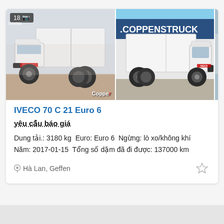[Figure (photo): Two photos of a white IVECO 70 C 21 Euro 6 box truck. Left image shows front-left view with badge showing 18 photos and a camera icon, and a 'Coppen' watermark. Right image shows side view in front of a building with sign '.COPPENSTRUCK'. A third partially visible image on the far right.]
IVECO 70 C 21 Euro 6
yêu cầu báo giá
Dung tải.: 3180 kg  Euro: Euro 6  Ngừng: lò xo/không khí
Năm: 2017-01-15  Tổng số dặm đã đi được: 137000 km
Hà Lan, Geffen